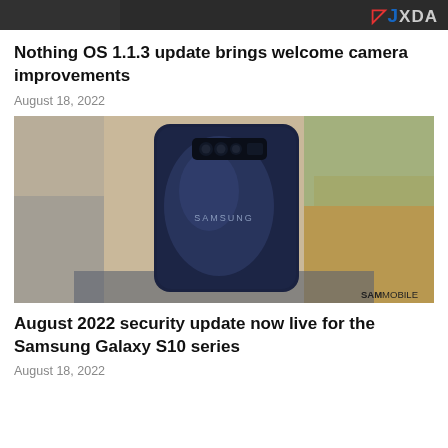[Figure (screenshot): Dark banner image with XDA Developers logo in top-right corner (red and blue bracket characters with grey XDA text)]
Nothing OS 1.1.3 update brings welcome camera improvements
August 18, 2022
[Figure (photo): Photo of a Samsung Galaxy S10 smartphone viewed from the back, showing the Samsung logo and rear camera array. Phone is dark blue/navy color, placed on a surface with dry golden grass in the background. SamMobile watermark in bottom-right corner.]
August 2022 security update now live for the Samsung Galaxy S10 series
August 18, 2022